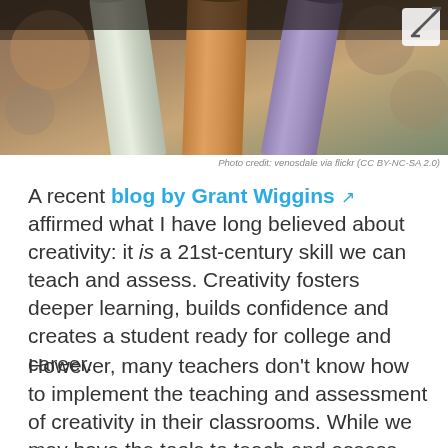[Figure (photo): Close-up photo of colored pencils (white, orange, purple) held together, with bokeh background]
Photo credit: venosdale via flickr (CC BY-NC-SA 2.0)
A recent blog by Grant Wiggins affirmed what I have long believed about creativity: it is a 21st-century skill we can teach and assess. Creativity fosters deeper learning, builds confidence and creates a student ready for college and career.
However, many teachers don't know how to implement the teaching and assessment of creativity in their classrooms. While we may have the tools to teach and assess content, creativity is another matter,